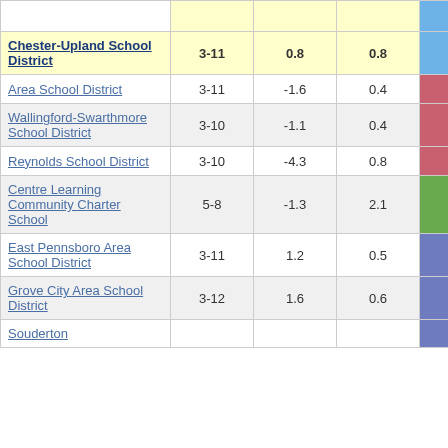| School/District | Grades | Col3 | Col4 | Score |
| --- | --- | --- | --- | --- |
| Chester-Upland School District | 3-11 | 0.8 | 0.8 | 1.05 |
| Area School District | 3-11 | -1.6 | 0.4 | -3.93 |
| Wallingford-Swarthmore School District | 3-10 | -1.1 | 0.4 | -2.53 |
| Reynolds School District | 3-10 | -4.3 | 0.8 | -5.50 |
| Centre Learning Community Charter School | 5-8 | -1.3 | 2.1 | -0.60 |
| East Pennsboro Area School District | 3-11 | 1.2 | 0.5 | 2.52 |
| Grove City Area School District | 3-12 | 1.6 | 0.6 | 2.68 |
| Souderton |  |  |  |  |